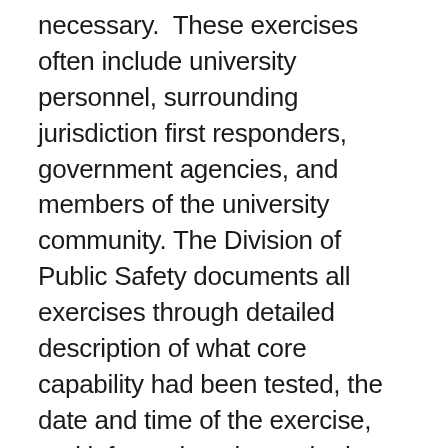necessary.  These exercises often include university personnel, surrounding jurisdiction first responders, government agencies, and members of the university community. The Division of Public Safety documents all exercises through detailed description of what core capability had been tested, the date and time of the exercise, and information about whether or not the test had been announced or unannounced.  CWRU Office of Resiliency works closely with local and state offices of emergency management. Local and State emergency management agencies are notified of exercises conducted on